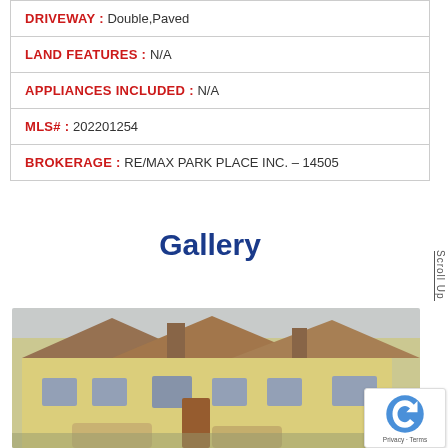| DRIVEWAY : Double,Paved |
| LAND FEATURES : N/A |
| APPLIANCES INCLUDED : N/A |
| MLS# : 202201254 |
| BROKERAGE : RE/MAX PARK PLACE INC. – 14505 |
Gallery
[Figure (photo): Exterior photo of a yellow residential house with brown roof, blue-trimmed windows, and multiple units visible. Cars parked in front.]